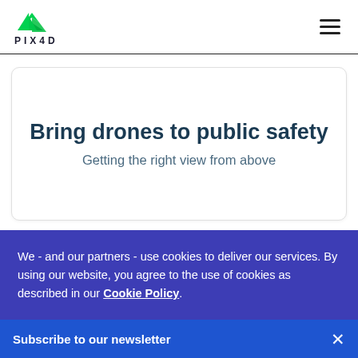[Figure (logo): PIX4D logo with green chevron/arrow mark and text PIX4D]
Bring drones to public safety
Getting the right view from above
We - and our partners - use cookies to deliver our services. By using our website, you agree to the use of cookies as described in our Cookie Policy.
Settings
Reject All
Accept All
Subscribe to our newsletter